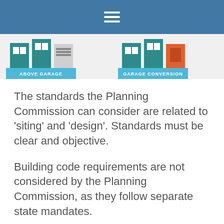≡
[Figure (infographic): Two illustrated diagrams side by side: left shows 'ABOVE GARAGE' ADU type with teal building icons and a light blue label bar, right shows 'GARAGE CONVERSION' ADU type with teal building icons, an orange highlighted unit, and a light blue label bar.]
The standards the Planning Commission can consider are related to 'siting' and 'design'. Standards must be clear and objective.
Building code requirements are not considered by the Planning Commission, as they follow separate state mandates.